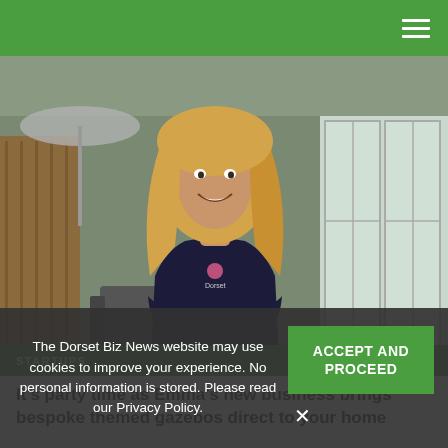Dorset Biz News (hamburger menu icon)
[Figure (photo): A smiling blonde woman in a dark branded t-shirt standing outdoors in front of a garden/patio area with furniture and glass doors]
STARTUPS
It's party time as Emma's new business brings bespoke themed gazebos direct to your home
The Dorset Biz News website may use cookies to improve your experience. No personal information is stored. Please read our Privacy Policy.
ACCEPT AND PROCEED